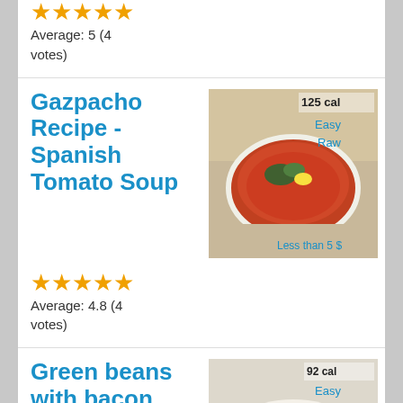Average: 5 (4 votes)
Gazpacho Recipe - Spanish Tomato Soup
[Figure (photo): Photo of gazpacho soup in a white bowl with garnish, overlaid with text: 125 cal, Easy, Raw, Less than 5 $]
Average: 4.8 (4 votes)
Green beans with bacon
[Figure (photo): Photo of green beans with bacon on a white plate with tomatoes, overlaid with text: 92 cal, Easy, Braising, Less than 5 $]